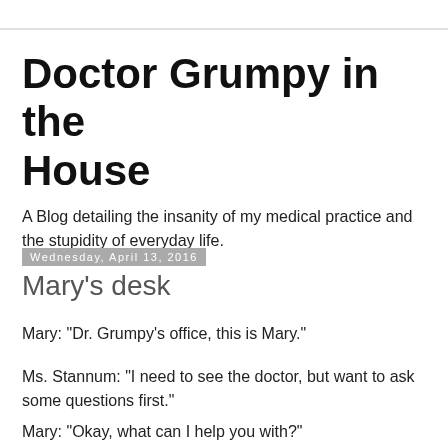Doctor Grumpy in the House
A Blog detailing the insanity of my medical practice and the stupidity of everyday life.
Wednesday, April 13, 2016
Mary's desk
Mary: "Dr. Grumpy's office, this is Mary."
Ms. Stannum: "I need to see the doctor, but want to ask some questions first."
Mary: "Okay, what can I help you with?"